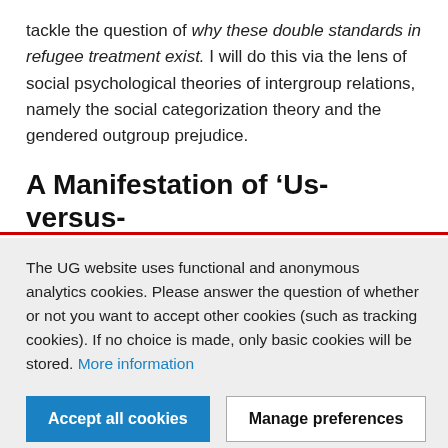tackle the question of why these double standards in refugee treatment exist. I will do this via the lens of social psychological theories of intergroup relations, namely the social categorization theory and the gendered outgroup prejudice.
A Manifestation of ‘Us-versus-
The UG website uses functional and anonymous analytics cookies. Please answer the question of whether or not you want to accept other cookies (such as tracking cookies). If no choice is made, only basic cookies will be stored. More information